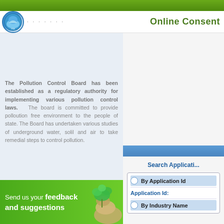Online Consent
The Pollution Control Board has been established as a regulatory authority for implementing various pollution control laws. The board is committed to provide polloution free environment to the people of state. The Board has undertaken various studies of underground water, solil and air to take remedial steps to control pollution.
Send us your feedback and suggestions
Search Application
By Application Id
Application Id:
By Industry Name